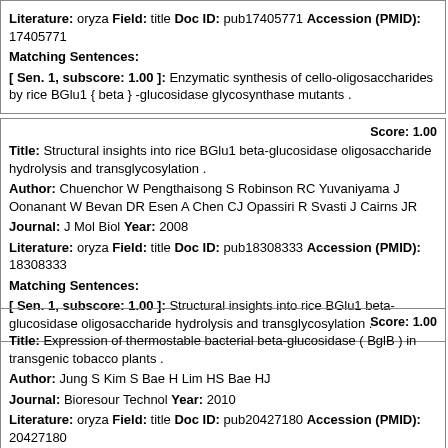Literature: oryza Field: title Doc ID: pub17405771 Accession (PMID): 17405771
Matching Sentences:
[ Sen. 1, subscore: 1.00 ]: Enzymatic synthesis of cello-oligosaccharides by rice BGlu1 { beta } -glucosidase glycosynthase mutants .
Score: 1.00
Title: Structural insights into rice BGlu1 beta-glucosidase oligosaccharide hydrolysis and transglycosylation .
Author: Chuenchor W Pengthaisong S Robinson RC Yuvaniyama J Oonanant W Bevan DR Esen A Chen CJ Opassiri R Svasti J Cairns JR
Journal: J Mol Biol Year: 2008
Literature: oryza Field: title Doc ID: pub18308333 Accession (PMID): 18308333
Matching Sentences:
[ Sen. 1, subscore: 1.00 ]: Structural insights into rice BGlu1 beta-glucosidase oligosaccharide hydrolysis and transglycosylation .
Score: 1.00
Title: Expression of thermostable bacterial beta-glucosidase ( BglB ) in transgenic tobacco plants .
Author: Jung S Kim S Bae H Lim HS Bae HJ
Journal: Bioresour Technol Year: 2010
Literature: oryza Field: title Doc ID: pub20427180 Accession (PMID): 20427180
Matching Sentences: